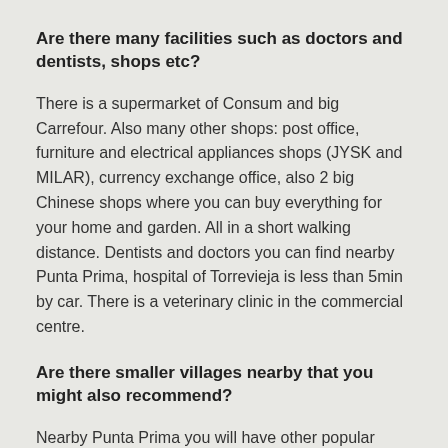Are there many facilities such as doctors and dentists, shops etc?
There is a supermarket of Consum and big Carrefour. Also many other shops: post office, furniture and electrical appliances shops (JYSK and MILAR), currency exchange office, also 2 big Chinese shops where you can buy everything for your home and garden. All in a short walking distance. Dentists and doctors you can find nearby Punta Prima, hospital of Torrevieja is less than 5min by car. There is a veterinary clinic in the commercial centre.
Are there smaller villages nearby that you might also recommend?
Nearby Punta Prima you will have other popular areas